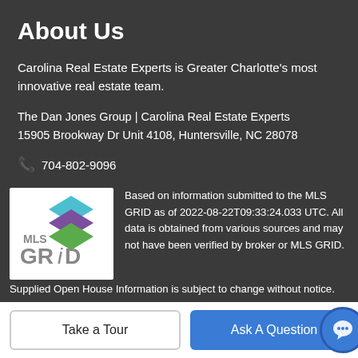About Us
Carolina Real Estate Experts is Greater Charlotte's most innovative real estate team.
The Dan Jones Group | Carolina Real Estate Experts
15905 Brookway Dr Unit 4108, Huntersville, NC 28078
📞 704-802-9096
[Figure (logo): MLS GRID logo with colorful layered diamond shapes above the text MLS GRiD]
Based on information submitted to the MLS GRID as of 2022-08-22T09:33:24.033 UTC. All data is obtained from various sources and may not have been verified by broker or MLS GRID. Supplied Open House Information is subject to change without notice. All information should be independently reviewed and verified for accuracy. Properties may or may not be listed by
from any brokers make available to other participants and institutions.